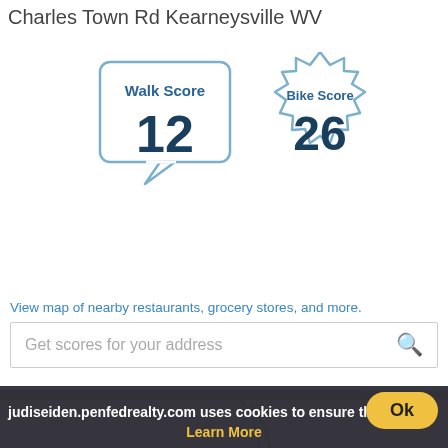Charles Town Rd Kearneysville WV
[Figure (infographic): Walk Score badge showing score of 12 and Bike Score badge showing score of 26]
View map of nearby restaurants, grocery stores, and more.
Get scores for your address
Properties near Charles Town Rd
[Figure (map): Map showing streets near Charles Town Rd]
judiseiden.penfedrealty.com uses cookies to ensure the bes
Learn More